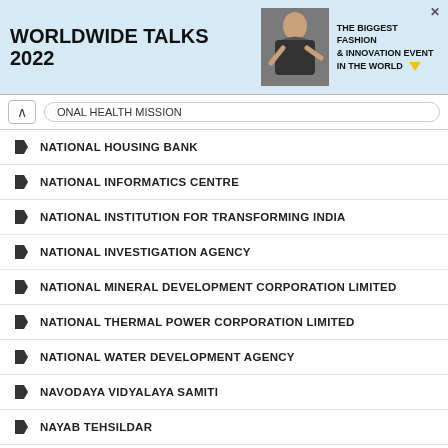[Figure (screenshot): Advertisement banner for Worldwide Talks 2022 - The Biggest Fashion & Innovation Event in the World]
ONAL HEALTH MISSION
NATIONAL HOUSING BANK
NATIONAL INFORMATICS CENTRE
NATIONAL INSTITUTION FOR TRANSFORMING INDIA
NATIONAL INVESTIGATION AGENCY
NATIONAL MINERAL DEVELOPMENT CORPORATION LIMITED
NATIONAL THERMAL POWER CORPORATION LIMITED
NATIONAL WATER DEVELOPMENT AGENCY
NAVODAYA VIDYALAYA SAMITI
NAYAB TEHSILDAR
NBCC (INDIA) LIMITED